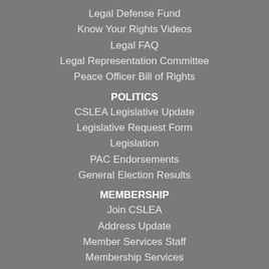Legal Defense Fund
Know Your Rights Videos
Legal FAQ
Legal Representation Committee
Peace Officer Bill of Rights
POLITICS
CSLEA Legislative Update
Legislative Request Form
Legislation
PAC Endorsements
General Election Results
MEMBERSHIP
Join CSLEA
Address Update
Member Services Staff
Membership Services
Member Benefits
Scholarship